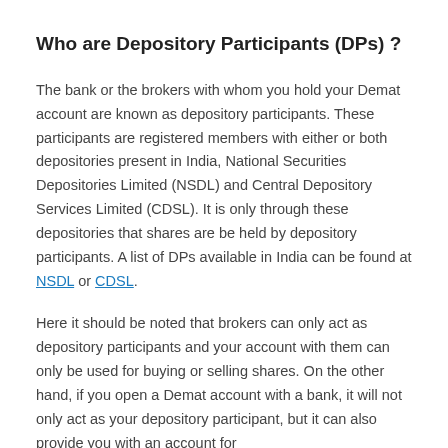Who are Depository Participants (DPs) ?
The bank or the brokers with whom you hold your Demat account are known as depository participants. These participants are registered members with either or both depositories present in India, National Securities Depositories Limited (NSDL) and Central Depository Services Limited (CDSL). It is only through these depositories that shares are be held by depository participants. A list of DPs available in India can be found at NSDL or CDSL.
Here it should be noted that brokers can only act as depository participants and your account with them can only be used for buying or selling shares. On the other hand, if you open a Demat account with a bank, it will not only act as your depository participant, but it can also provide you with an account for